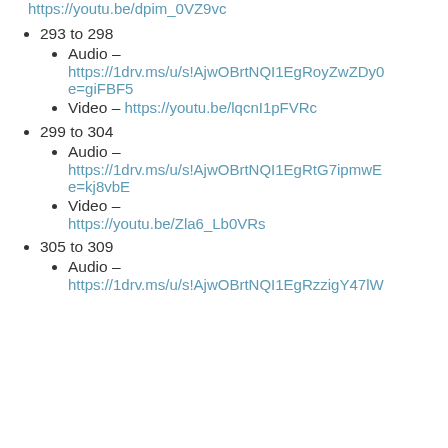https://youtu.be/dpim_0VZ9vc
293 to 298
Audio – https://1drv.ms/u/s!AjwOBrtNQI1EgRoyZwZDyC...e=giFBF5
Video – https://youtu.be/lqcnI1pFVRc
299 to 304
Audio – https://1drv.ms/u/s!AjwOBrtNQI1EgRtG7ipmwE...e=kj8vbE
Video – https://youtu.be/Zla6_Lb0VRs
305 to 309
Audio – https://1drv.ms/u/s!AjwOBrtNQI1EgRzzigY47lW...